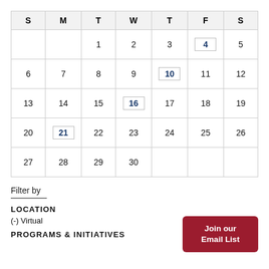| S | M | T | W | T | F | S |
| --- | --- | --- | --- | --- | --- | --- |
|  |  | 1 | 2 | 3 | 4 | 5 |
| 6 | 7 | 8 | 9 | 10 | 11 | 12 |
| 13 | 14 | 15 | 16 | 17 | 18 | 19 |
| 20 | 21 | 22 | 23 | 24 | 25 | 26 |
| 27 | 28 | 29 | 30 |  |  |  |
Filter by
LOCATION
(-) Virtual
PROGRAMS & INITIATIVES
Join our Email List